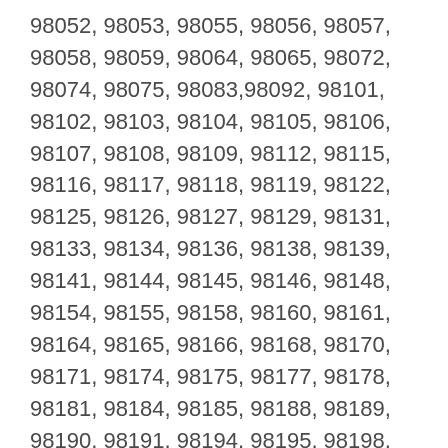98052, 98053, 98055, 98056, 98057, 98058, 98059, 98064, 98065, 98072, 98074, 98075, 98083,98092, 98101, 98102, 98103, 98104, 98105, 98106, 98107, 98108, 98109, 98112, 98115, 98116, 98117, 98118, 98119, 98122, 98125, 98126, 98127, 98129, 98131, 98133, 98134, 98136, 98138, 98139, 98141, 98144, 98145, 98146, 98148, 98154, 98155, 98158, 98160, 98161, 98164, 98165, 98166, 98168, 98170, 98171, 98174, 98175, 98177, 98178, 98181, 98184, 98185, 98188, 98189, 98190, 98191, 98194, 98195, 98198, 98199, 98354, 98296, 98275
Snohomish County
98012, 98020, 98021, 98026, 98043, 98037, 980203,098204, 98208, 98296